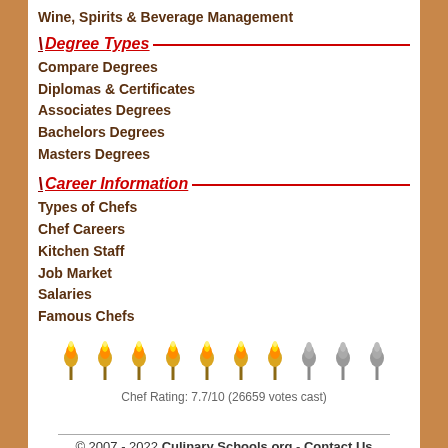Wine, Spirits & Beverage Management
Degree Types
Compare Degrees
Diplomas & Certificates
Associates Degrees
Bachelors Degrees
Masters Degrees
Career Information
Types of Chefs
Chef Careers
Kitchen Staff
Job Market
Salaries
Famous Chefs
[Figure (infographic): 10 torch/match icons representing rating: 7 lit (gold/orange flame) and 3 unlit (gray). Rating displayed below.]
Chef Rating: 7.7/10 (26659 votes cast)
© 2007 - 2022 Culinary Schools.org - Contact Us